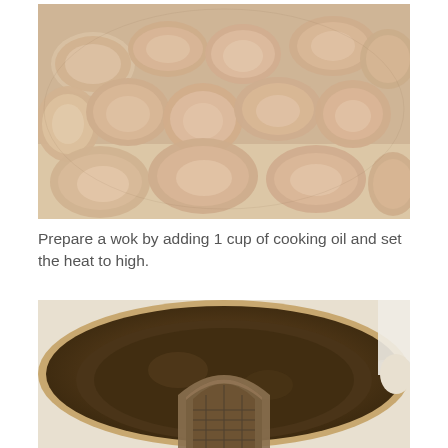[Figure (photo): Close-up photo of raw chicken pieces dusted with flour or seasoning, arranged on a tray]
Prepare a wok by adding  1 cup of cooking oil and set the heat to high.
[Figure (photo): Photo of an empty wok or cooking pan viewed from above, showing seasoned/dark interior surface with a metal steamer rack inside]